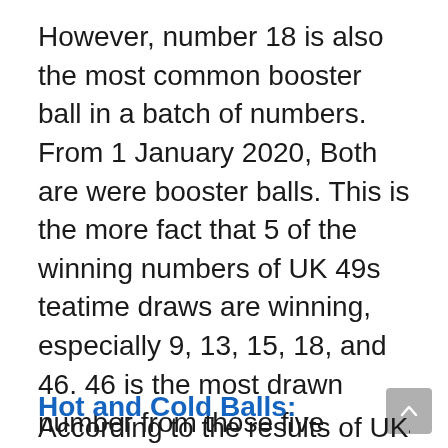However, number 18 is also the most common booster ball in a batch of numbers. From 1 January 2020, Both are were booster balls. This is the more fact that 5 of the winning numbers of UK 49s teatime draws are winning, especially 9, 13, 15, 18, and 46. 46 is the most drawn number from those five numbers.
Hot and Cold Balls:
According to the results of UK49s teatime, Th...